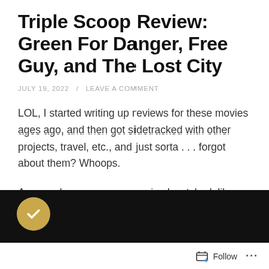Triple Scoop Review: Green For Danger, Free Guy, and The Lost City
JULY 19, 2022 / LEAVE A COMMENT
LOL, I started writing up reviews for these movies ages ago, and then got sidetracked with other projects, travel, etc., and just sorta . . . forgot about them? Whoops.
Anyway, here are some movies I watched, like, probably back in May or something!
Green For Danger
[Figure (photo): Dark/black background image strip with a gold circle containing a white checkmark on the left side, partially visible at the bottom of the page.]